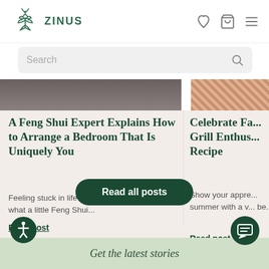ZINUS
Search
[Figure (screenshot): Partial top of article card image strip (dark photo on left, striped/textured on right)]
A Feng Shui Expert Explains How to Arrange a Bedroom That Is Uniquely You
Feeling stuck in life? You may be surprised at what a little Feng Shui...
Read post
Celebrate Fa... Grill Enthus... Recipe
Show your appre... summer with a v... be...
Read post
Read all posts
Get the latest stories